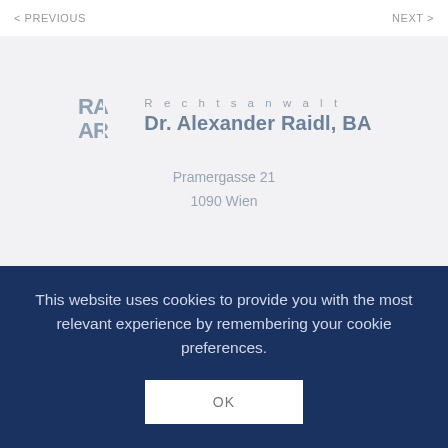< PREVIOUS    NEXT >
[Figure (logo): RA AR logo with stylized overlapping letters, beside text 'Rechtsanwalt Dr. Alexander Raidl, BA' and address 'Pramergasse 21, 1090 Wien' on a light grey background]
This website uses cookies to provide you with the most relevant experience by remembering your cookie preferences.
OK